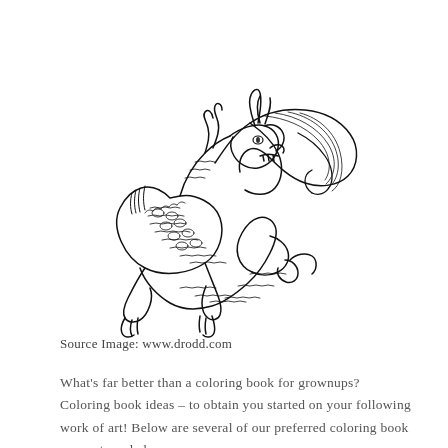[Figure (illustration): A detailed black and white line drawing of a dragon in a crouching pose, suitable for a coloring book. The dragon has scales, large wings, horns, claws, and a coiled tail. The style is intricate with cross-hatching and detailed linework.]
Source Image: www.drodd.com
What's far better than a coloring book for grownups? Coloring book ideas – to obtain you started on your following work of art! Below are several of our preferred coloring book concepts and also sources.